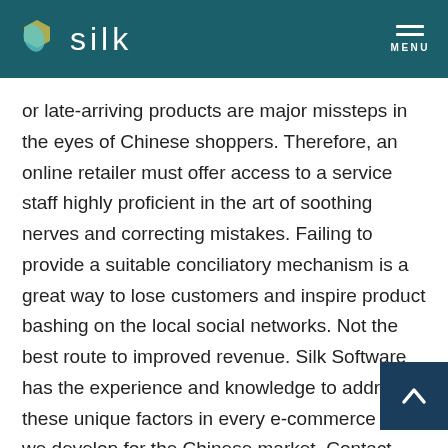silk | MENU
or late-arriving products are major missteps in the eyes of Chinese shoppers. Therefore, an online retailer must offer access to a service staff highly proficient in the art of soothing nerves and correcting mistakes. Failing to provide a suitable conciliatory mechanism is a great way to lose customers and inspire product bashing on the local social networks. Not the best route to improved revenue. Silk Software has the experience and knowledge to address these unique factors in every e-commerce site we develop for the Chinese market. Contact Silk to learn more about how our proven Magento expertise can maximize your online performance in this rapidly-growing market.